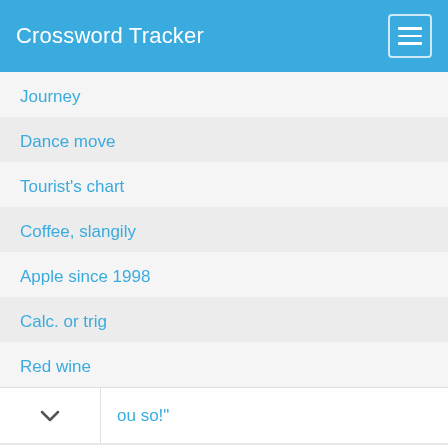Crossword Tracker
Journey
Dance move
Tourist's chart
Coffee, slangily
Apple since 1998
Calc. or trig
Red wine
…ou so!"
You deserve a sweet Treat sweetFrog